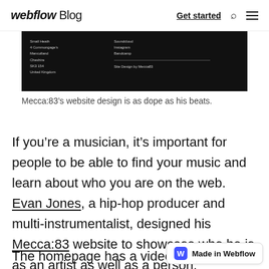webflow Blog  Get started
[Figure (screenshot): Screenshot of Mecca:83 website showing dark/black footer area with contact information on the left (Small Heath, 4 Commongage's, Mancolland, Cheshire, SK3 154, United Kingdom) and social links on the right (Soundcloud, Instagram, Bandcamp) with 'Site Design by Mecca83' text and a horizontal divider line.]
Mecca:83’s website design is as dope as his beats.
If you’re a musician, it’s important for people to be able to find your music and learn about who you are on the web. Evan Jones, a hip-hop producer and multi-instrumentalist, designed his Mecca:83 website to showcase who he is as an artist as well as a person.
The homepage has a video backgrou…